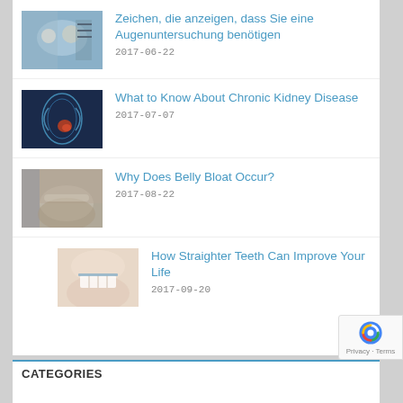Zeichen, die anzeigen, dass Sie eine Augenuntersuchung benötigen
2017-06-22
What to Know About Chronic Kidney Disease
2017-07-07
Why Does Belly Bloat Occur?
2017-08-22
How Straighter Teeth Can Improve Your Life
2017-09-20
CATEGORIES